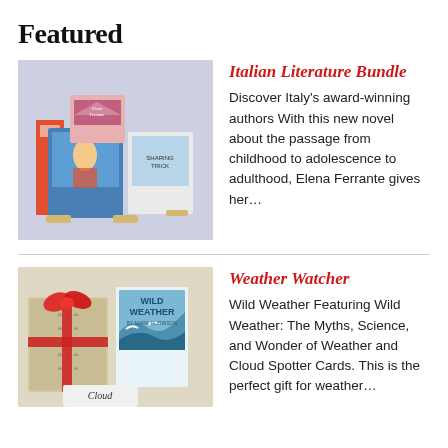Featured
[Figure (photo): A stack of Italian literature books displayed on small wooden stands, with colorful covers including Elena Ferrante titles.]
Italian Literature Bundle
Discover Italy’s award-winning authors With this new novel about the passage from childhood to adolescence to adulthood, Elena Ferrante gives her…
[Figure (photo): Two books wrapped with a red ribbon bow as a gift: Wild Weather and Cloud Spotter Cards on a patterned background.]
Weather Watcher
Wild Weather Featuring Wild Weather: The Myths, Science, and Wonder of Weather and Cloud Spotter Cards. This is the perfect gift for weather…